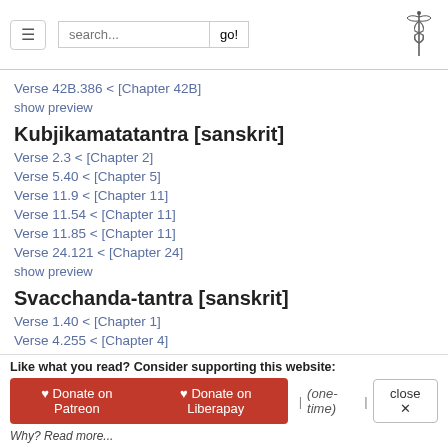search... go!
Verse 42B.386 < [Chapter 42B]
show preview
Kubjikamatatantra [sanskrit]
Verse 2.3 < [Chapter 2]
Verse 5.40 < [Chapter 5]
Verse 11.9 < [Chapter 11]
Verse 11.54 < [Chapter 11]
Verse 11.85 < [Chapter 11]
Verse 24.121 < [Chapter 24]
show preview
Svacchanda-tantra [sanskrit]
Verse 1.40 < [Chapter 1]
Verse 4.255 < [Chapter 4]
Verse 4.353 < [Chapter 4]
Verse 4.377 < [Chapter 4]
Like what you read? Consider supporting this website: ♥ Donate on Patreon  ♥ Donate on Liberapay  | (one-time) |  close  Why? Read more...